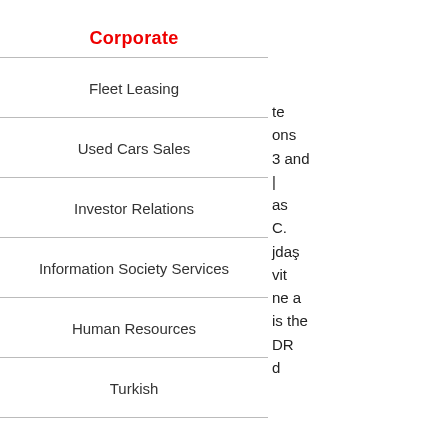Corporate
Fleet Leasing
Used Cars Sales
Investor Relations
Information Society Services
Human Resources
Turkish
te
ons
3 and
|
as
C.
jdaş
vit
ne a
is the
DR
d